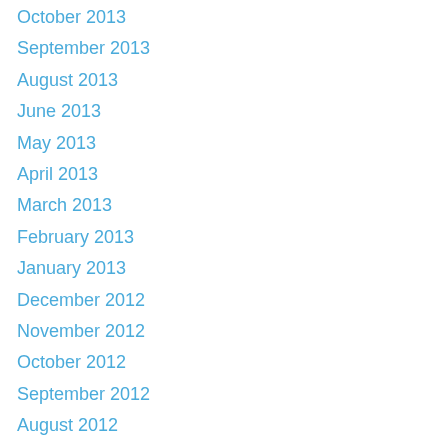October 2013
September 2013
August 2013
June 2013
May 2013
April 2013
March 2013
February 2013
January 2013
December 2012
November 2012
October 2012
September 2012
August 2012
July 2012
June 2012
May 2012
April 2012
March 2012
January 2012